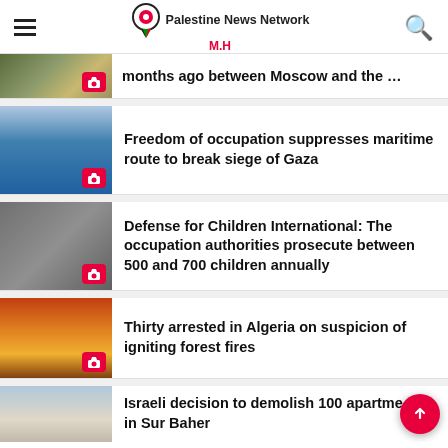Palestine News Network M.H
months ago between Moscow and the West
Freedom of occupation suppresses maritime route to break siege of Gaza
Defense for Children International: The occupation authorities prosecute between 500 and 700 children annually
Thirty arrested in Algeria on suspicion of igniting forest fires
Israeli decision to demolish 100 apartments in Sur Baher